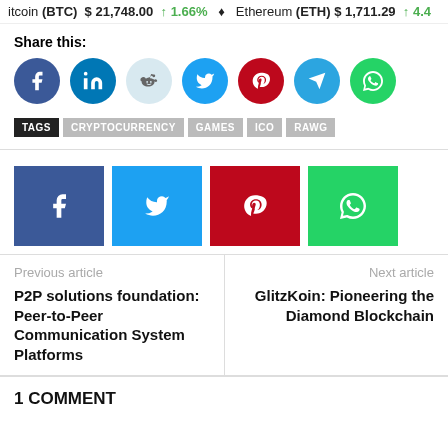Bitcoin (BTC) $21,748.00 ↑1.66% Ethereum (ETH) $1,711.29 ↑4.4
Share this:
Social share buttons: Facebook, LinkedIn, Reddit, Twitter, Pinterest, Telegram, WhatsApp
TAGS: CRYPTOCURRENCY, GAMES, ICO, RAWG
Social square buttons: Facebook, Twitter, Pinterest, WhatsApp
Previous article: P2P solutions foundation: Peer-to-Peer Communication System Platforms
Next article: GlitzKoin: Pioneering the Diamond Blockchain
1 COMMENT